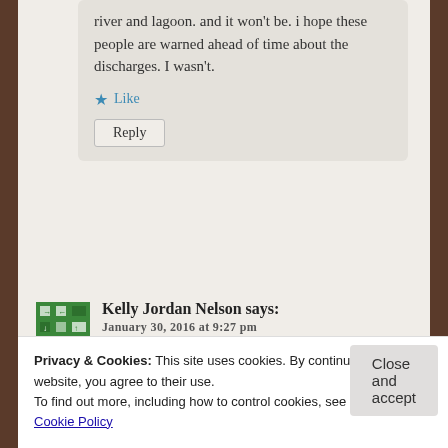river and lagoon. and it won't be. i hope these people are warned ahead of time about the discharges. I wasn't.
Like
Reply
Kelly Jordan Nelson says:
January 30, 2016 at 9:27 pm
I can comment as a daughter
Privacy & Cookies: This site uses cookies. By continuing to use this website, you agree to their use.
To find out more, including how to control cookies, see here: Cookie Policy
Close and accept